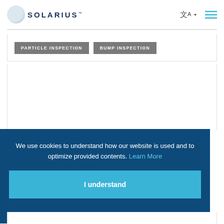SOLARIUS
PARTICLE INSPECTION | BUMP INSPECTION
We use cookies to understand how our website is used and to optimize provided contents. Learn More
I understand